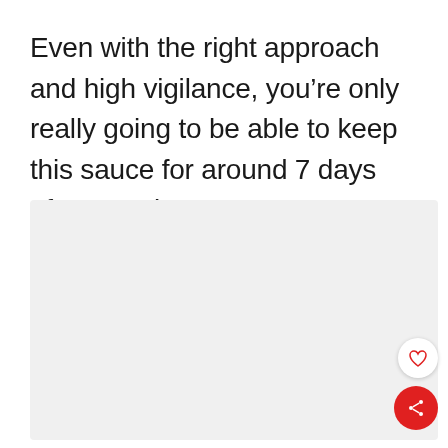Even with the right approach and high vigilance, you’re only really going to be able to keep this sauce for around 7 days after opening.
[Figure (other): Light gray placeholder image box with three dots at the bottom indicating image carousel, a heart/like button (circular white), and a red circular share button with share icon in the bottom-right corner.]